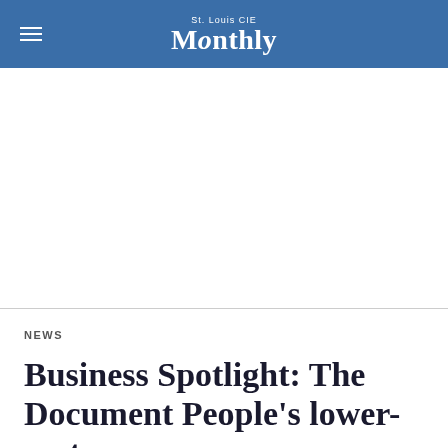St. Louis CIE Monthly
NEWS
Business Spotlight: The Document People's lower-cost